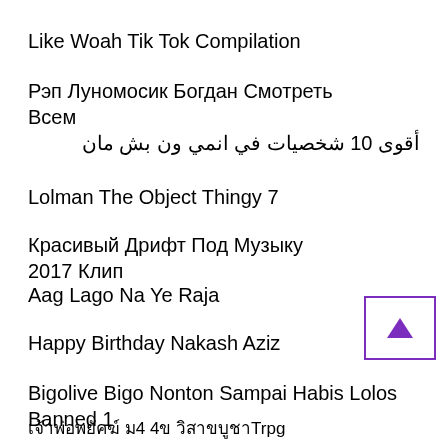Like Woah Tik Tok Compilation
Рэп Луномосик Богдан Смотреть Всем
أقوى 10 شخصيات في انمي ون بش مان
Lolman The Object Thingy 7
Красивый Дрифт Под Музыку 2017 Клип
Aag Lago Na Ye Raja
Happy Birthday Nakash Aziz
Bigolive Bigo Nonton Sampai Habis Lolos Banned 1
เจ้าพ่อพยัคฆ์ ม4 4ข วิสาขบูชาTrpg